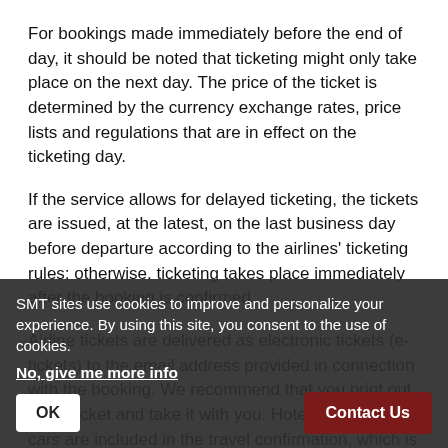For bookings made immediately before the end of day, it should be noted that ticketing might only take place on the next day. The price of the ticket is determined by the currency exchange rates, price lists and regulations that are in effect on the ticketing day.
If the service allows for delayed ticketing, the tickets are issued, at the latest, on the last business day before departure according to the airlines' ticketing rules; otherwise, ticketing takes place immediately after the booking is confirmed.
Airline tickets are delivered as electronic tickets (e-tickets) to the email address provided in connection with the booking. We recommend that you print out the e-ticket and take it with you. Hotels and rental cars are included in the travel confirmation, which is delivered by email to the address provided in connection with the booking. No separate vouchers are provid...
SMT sites use cookies to improve and personalize your experience. By using this site, you consent to the use of cookies.
No, give me more info
OK
Contact Us